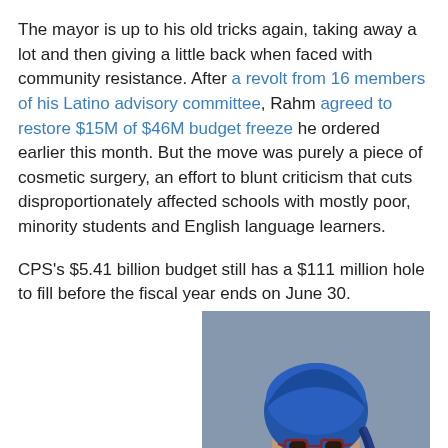The mayor is up to his old tricks again, taking away a lot and then giving a little back when faced with community resistance. After a revolt from 16 members of his Latino advisory committee, Rahm agreed to restore $15M of $46M budget freeze he ordered earlier this month. But the move was purely a piece of cosmetic surgery, an effort to blunt criticism that cuts disproportionately affected schools with mostly poor, minority students and English language learners.
CPS's $5.41 billion budget still has a $111 million hole to fill before the fiscal year ends on June 30.
Now Rahm is threatening to close schools three weeks early, a move that would only further decrease school revenue, while putting nearly a
[Figure (photo): Photo of a woman wearing a blue head wrap and glasses, dressed in a blue jacket with a white collar, smiling at the camera.]